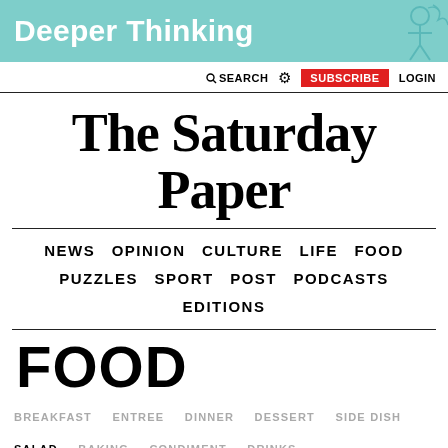[Figure (illustration): Teal/cyan banner with 'Deeper Thinking' text and a sketch illustration of a figure on the right]
SEARCH  ⚙  SUBSCRIBE  LOGIN
The Saturday Paper
NEWS  OPINION  CULTURE  LIFE  FOOD  PUZZLES  SPORT  POST  PODCASTS  EDITIONS
FOOD
BREAKFAST  ENTREE  DINNER  DESSERT  SIDE DISH  SALAD  BAKING  CONDIMENT  DRINKS
MOST POPULAR  CHRISTMAS IN JULY  WINTER RECIPES  CHICKEN  CHOCOLATE  CAKES AND TARTS  LIGHT MEALS